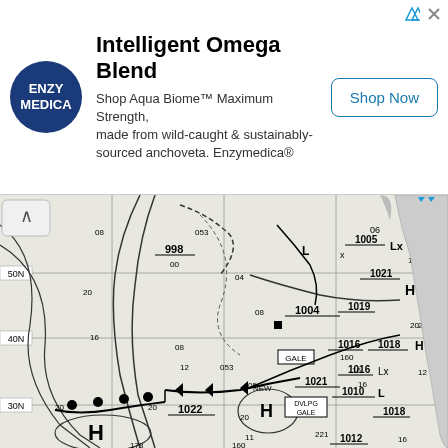[Figure (other): Advertisement banner for Enzymedica Intelligent Omega Blend - Aqua Biome Maximum Strength supplement with logo, text, and Shop Now button]
[Figure (map): Synoptic weather map showing isobars, pressure systems (H and L), fronts (warm, cold, occluded), and pressure values including 998, 1004, 1005, 1021, 1019, 1016, 1018, 1010, 1021, 1022, 1012. Latitude lines at 30N, 40N, 50N visible. Labels include GALE, NEW, DVLPG GALE. Wind barbs and front symbols shown.]